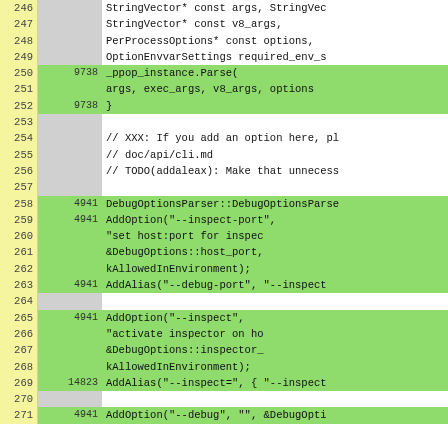[Figure (screenshot): Code coverage view showing source code lines 246-271 with line numbers, coverage hit counts, and highlighted source code in monospace font. Green highlighted rows indicate covered lines, white rows indicate uncovered lines.]